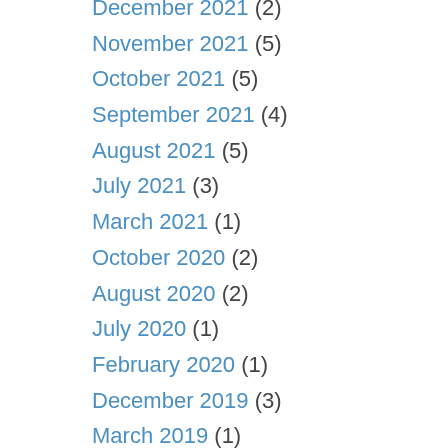December 2021 (2)
November 2021 (5)
October 2021 (5)
September 2021 (4)
August 2021 (5)
July 2021 (3)
March 2021 (1)
October 2020 (2)
August 2020 (2)
July 2020 (1)
February 2020 (1)
December 2019 (3)
March 2019 (1)
July 2018 (1)
May 2018 (1)